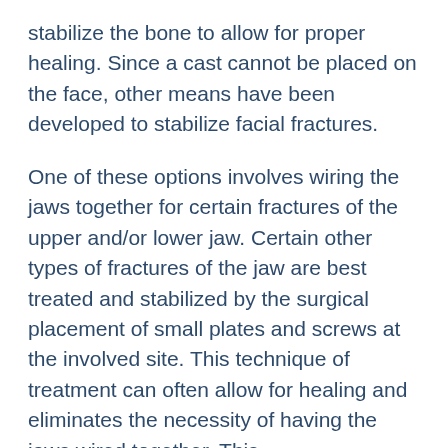stabilize the bone to allow for proper healing. Since a cast cannot be placed on the face, other means have been developed to stabilize facial fractures.
One of these options involves wiring the jaws together for certain fractures of the upper and/or lower jaw. Certain other types of fractures of the jaw are best treated and stabilized by the surgical placement of small plates and screws at the involved site. This technique of treatment can often allow for healing and eliminates the necessity of having the jaws wired together. This